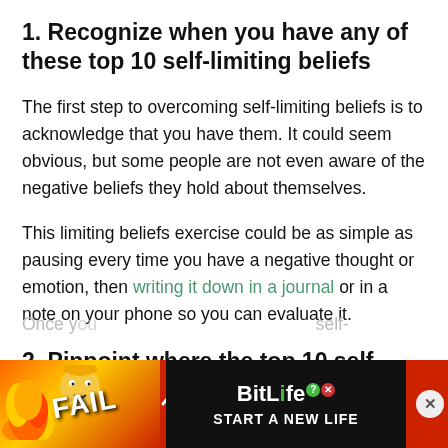1. Recognize when you have any of these top 10 self-limiting beliefs
The first step to overcoming self-limiting beliefs is to acknowledge that you have them. It could seem obvious, but some people are not even aware of the negative beliefs they hold about themselves.
This limiting beliefs exercise could be as simple as pausing every time you have a negative thought or emotion, then writing it down in a journal or in a note on your phone so you can evaluate it.
2. Pinpoint where the top 10 self-limiting beliefs originated from
Once you ... self-
[Figure (other): Advertisement banner for BitLife game featuring fire/flames, a cartoon character, 'FAIL' text, BitLife logo with question and X badges, and 'START A NEW LIFE' tagline on dark background with close button.]